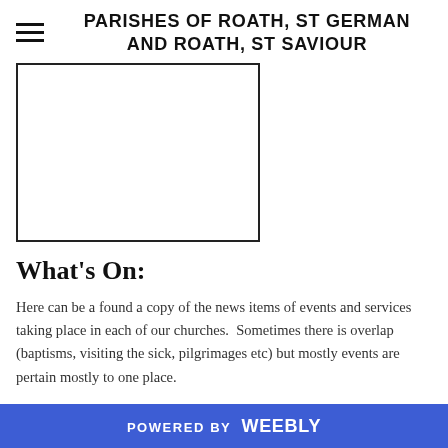PARISHES OF ROATH, ST GERMAN AND ROATH, ST SAVIOUR
[Figure (photo): A rectangular white image placeholder with a black border, representing a photo or image on the webpage.]
What's On:
Here can be a found a copy of the news items of events and services taking place in each of our churches.  Sometimes there is overlap (baptisms, visiting the sick, pilgrimages etc) but mostly events are pertain mostly to one place.
Archives
August 2021
POWERED BY weebly